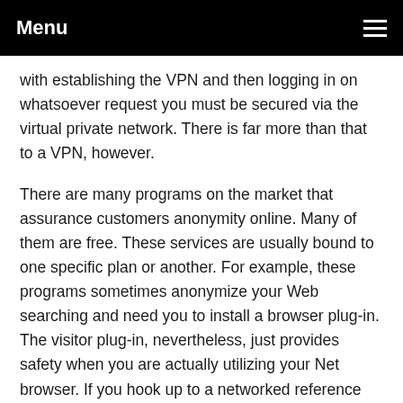Menu
with establishing the VPN and then logging in on whatsoever request you must be secured via the virtual private network. There is far more than that to a VPN, however.
There are many programs on the market that assurance customers anonymity online. Many of them are free. These services are usually bound to one specific plan or another. For example, these programs sometimes anonymize your Web searching and need you to install a browser plug-in. The visitor plug-in, nevertheless, just provides safety when you are actually utilizing your Net browser. If you hook up to a networked reference using another kind of connection